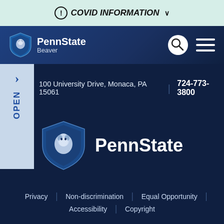COVID INFORMATION
[Figure (logo): Penn State Beaver navigation bar with Nittany Lion shield logo, PennState Beaver text, search icon, and hamburger menu]
100 University Drive, Monaca, PA 15061   |   724-773-3800
[Figure (logo): Penn State Nittany Lion shield logo with PennState text]
Privacy | Non-discrimination | Equal Opportunity | Accessibility | Copyright